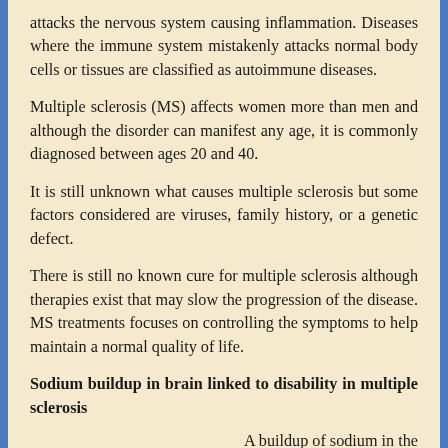attacks the nervous system causing inflammation. Diseases where the immune system mistakenly attacks normal body cells or tissues are classified as autoimmune diseases.
Multiple sclerosis (MS) affects women more than men and although the disorder can manifest any age, it is commonly diagnosed between ages 20 and 40.
It is still unknown what causes multiple sclerosis but some factors considered are viruses, family history, or a genetic defect.
There is still no known cure for multiple sclerosis although therapies exist that may slow the progression of the disease. MS treatments focuses on controlling the symptoms to help maintain a normal quality of life.
Sodium buildup in brain linked to disability in multiple sclerosis
A buildup of sodium in the brain detected by magnetic resonance (MRI)